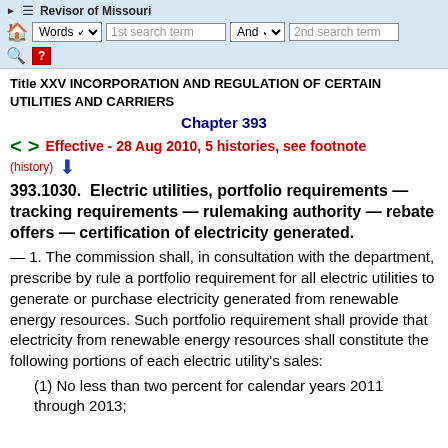Revisor of Missouri — Words / 1st search term / And / 2nd search term
Title XXV INCORPORATION AND REGULATION OF CERTAIN UTILITIES AND CARRIERS
Chapter 393
Effective - 28 Aug 2010, 5 histories, see footnote
393.1030. Electric utilities, portfolio requirements — tracking requirements — rulemaking authority — rebate offers — certification of electricity generated.
— 1. The commission shall, in consultation with the department, prescribe by rule a portfolio requirement for all electric utilities to generate or purchase electricity generated from renewable energy resources. Such portfolio requirement shall provide that electricity from renewable energy resources shall constitute the following portions of each electric utility's sales:
(1) No less than two percent for calendar years 2011 through 2013;